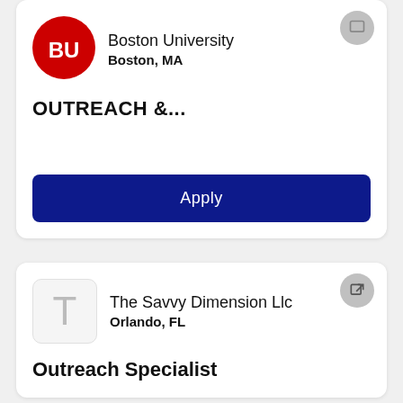[Figure (logo): Boston University red circle logo with BU letters in white]
Boston University
Boston, MA
OUTREACH &...
Apply
[Figure (logo): The Savvy Dimension Llc placeholder logo with letter T in gray]
The Savvy Dimension Llc
Orlando, FL
Outreach Specialist